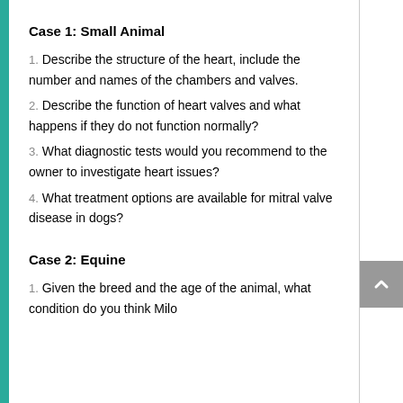Case 1: Small Animal
1. Describe the structure of the heart, include the number and names of the chambers and valves.
2. Describe the function of heart valves and what happens if they do not function normally?
3. What diagnostic tests would you recommend to the owner to investigate heart issues?
4. What treatment options are available for mitral valve disease in dogs?
Case 2: Equine
1. Given the breed and the age of the animal, what condition do you think Milo